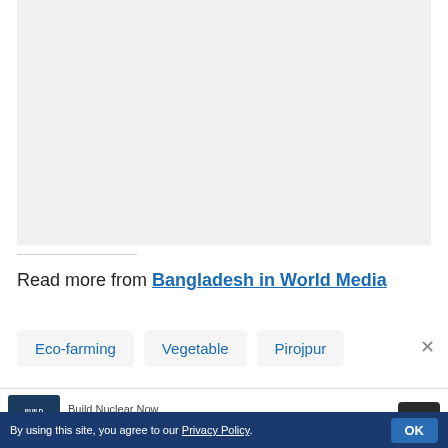[Figure (photo): Light gray placeholder image area at the top of the page]
Read more from Bangladesh in World Media
Eco-farming
Vegetable
Pirojpur
[Figure (screenshot): Advertisement banner: Build Nuclear Now with dark thumbnail and button]
By using this site, you agree to our Privacy Policy. OK